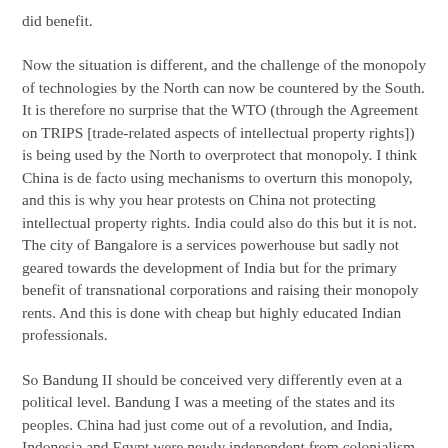did benefit.
Now the situation is different, and the challenge of the monopoly of technologies by the North can now be countered by the South. It is therefore no surprise that the WTO (through the Agreement on TRIPS [trade-related aspects of intellectual property rights]) is being used by the North to overprotect that monopoly. I think China is de facto using mechanisms to overturn this monopoly, and this is why you hear protests on China not protecting intellectual property rights. India could also do this but it is not. The city of Bangalore is a services powerhouse but sadly not geared towards the development of India but for the primary benefit of transnational corporations and raising their monopoly rents. And this is done with cheap but highly educated Indian professionals.
So Bandung II should be conceived very differently even at a political level. Bandung I was a meeting of the states and its peoples. China had just come out of a revolution, and India, Indonesia and Egypt were newly independent from colonialism. So to a large extent, those governments were